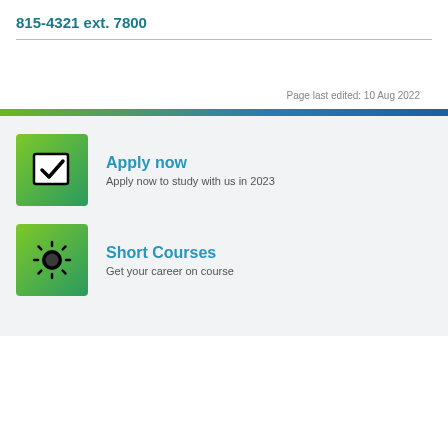815-4321 ext. 7800
Page last edited: 10 Aug 2022
Apply now
Apply now to study with us in 2023
Short Courses
Get your career on course